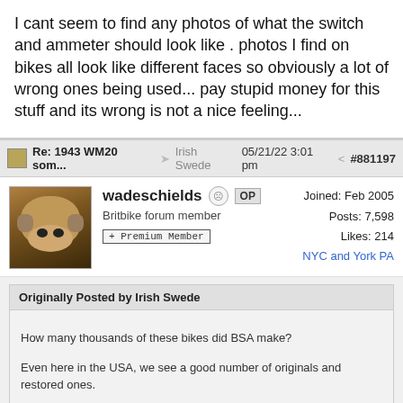I cant seem to find any photos of what the switch and ammeter should look like . photos I find on bikes all look like different faces so obviously a lot of wrong ones being used... pay stupid money for this stuff and its wrong is not a nice feeling...
Re: 1943 WM20 som...  Irish Swede  05/21/22 3:01 pm  #881197
wadeschields  OP
Britbike forum member
+ Premium Member
Joined: Feb 2005
Posts: 7,598
Likes: 214
NYC and York PA
Originally Posted by Irish Swede
How many thousands of these bikes did BSA make?

Even here in the USA, we see a good number of originals and restored ones.
The guys here like to ride them wearing British army overcoats if they can find them.